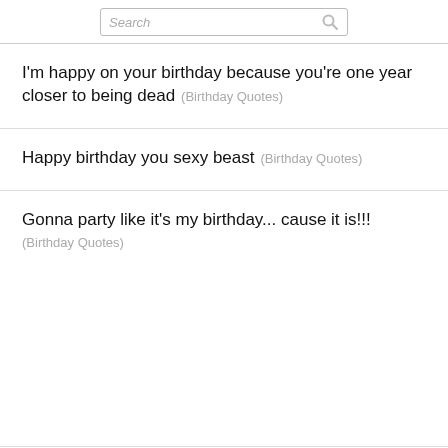Search
I'm happy on your birthday because you're one year closer to being dead (Birthday Quotes)
Happy birthday you sexy beast (Birthday Quotes)
Gonna party like it's my birthday... cause it is!!! (Birthday Quotes)